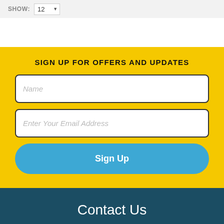SHOW: 12
SIGN UP FOR OFFERS AND UPDATES
Name
Enter Your Email Address
Sign Up
Contact Us